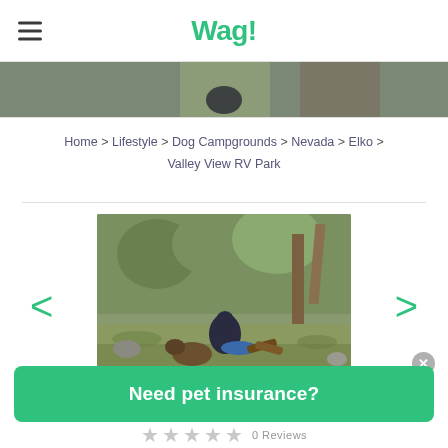Wag!
Home > Lifestyle > Dog Campgrounds > Nevada > Elko > Valley View RV Park
[Figure (photo): Person sitting by a campfire with a dog in a natural outdoor setting with trees and grass]
Need pet insurance?
0 Reviews